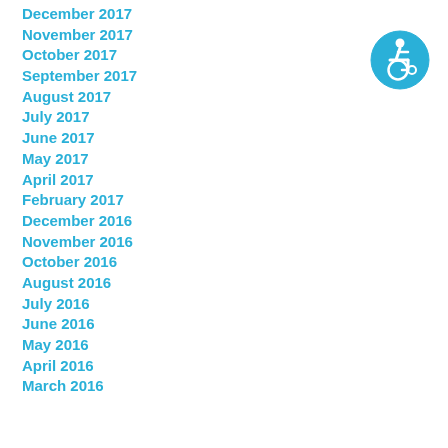December 2017
November 2017
October 2017
September 2017
August 2017
July 2017
June 2017
May 2017
April 2017
February 2017
December 2016
November 2016
October 2016
August 2016
July 2016
June 2016
May 2016
April 2016
March 2016
[Figure (logo): Accessibility icon — blue circle with white wheelchair user symbol]